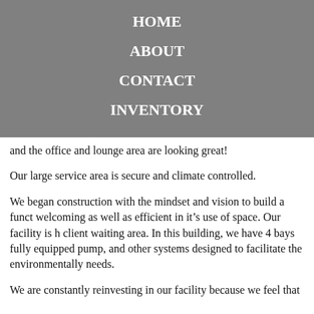HOME
ABOUT
CONTACT
INVENTORY
and the office and lounge area are looking great!
Our large service area is secure and climate controlled.
We began construction with the mindset and vision to build a funct welcoming as well as efficient in it’s use of space. Our facility is h client waiting area. In this building, we have 4 bays fully equipped pump, and other systems designed to facilitate the environmentally needs.
We are constantly reinvesting in our facility because we feel that